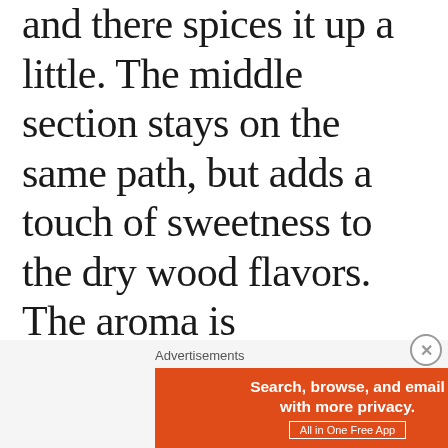and there spices it up a little. The middle section stays on the same path, but adds a touch of sweetness to the dry wood flavors. The aroma is compelling though — an interesting musky smell combined with cedary sweetness. The burn wavers a little, but is self-correcting.
[Figure (infographic): DuckDuckGo advertisement banner. Orange left section with white bold text: 'Search, browse, and email with more privacy.' and a bordered button 'All in One Free App'. Dark right section with DuckDuckGo duck logo and 'DuckDuckGo' text in white.]